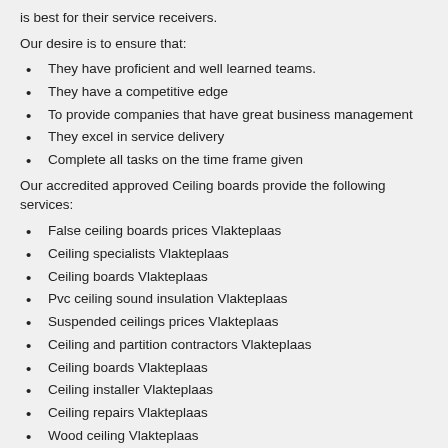is best for their service receivers.
Our desire is to ensure that:
They have proficient and well learned teams.
They have a competitive edge
To provide companies that have great business management
They excel in service delivery
Complete all tasks on the time frame given
Our accredited approved Ceiling boards provide the following services:
False ceiling boards prices Vlakteplaas
Ceiling specialists Vlakteplaas
Ceiling boards Vlakteplaas
Pvc ceiling sound insulation Vlakteplaas
Suspended ceilings prices Vlakteplaas
Ceiling and partition contractors Vlakteplaas
Ceiling boards Vlakteplaas
Ceiling installer Vlakteplaas
Ceiling repairs Vlakteplaas
Wood ceiling Vlakteplaas
Ceiling contractors Vlakteplaas
Drop ceiling installation Vlakteplaas
Ceiling insulation Vlakteplaas
Suspended ceilings Vlakteplaas
Ceiling installations Vlakteplaas
Ceiling fitters Vlakteplaas